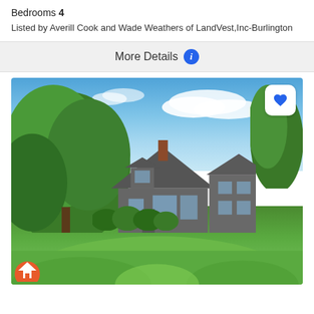Bedrooms 4
Listed by Averill Cook and Wade Weathers of LandVest,Inc-Burlington
More Details
[Figure (photo): Aerial/elevated exterior view of a large gray shingle-style house surrounded by mature trees with a manicured green lawn. Blue sky with white clouds in the background. A blue heart favorite button is visible in the upper right corner of the photo.]